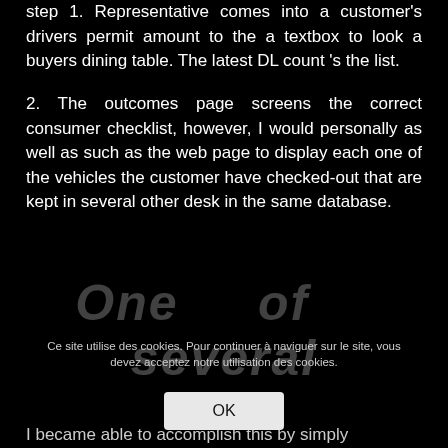step 1. Representative comes into a customer's drivers permit amount to the a textbox to look a buyers dining table. The latest DL count 's the list.
2. The outcomes page screens the correct consumer checklist, however, I would personally as well as such as the web page to display each one of the vehicles the customer have checked-out that are kept in several other desk in the same database.
[Figure (screenshot): Watermark text reading 'One of several relationships access' overlaid in large grey italic text on black background]
Ce site utilise des cookies. Pour continuer à naviguer sur le site, vous devez acceptez notre utilisation des cookies.
OK
I became able to accomplish this by simply